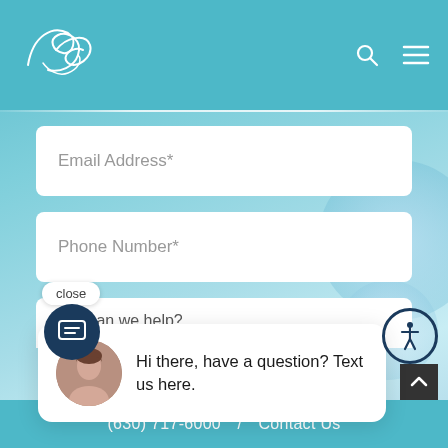[Figure (screenshot): Website header with a decorative cursive logo on the left and search/menu icons on the right, on a teal/cyan background]
Email Address*
Phone Number*
close
How can we help?
Hi there, have a question? Text us here.
I'm not a robot
reCAPTCHA Privacy · Terms
(630) 717-6000  /  Contact Us